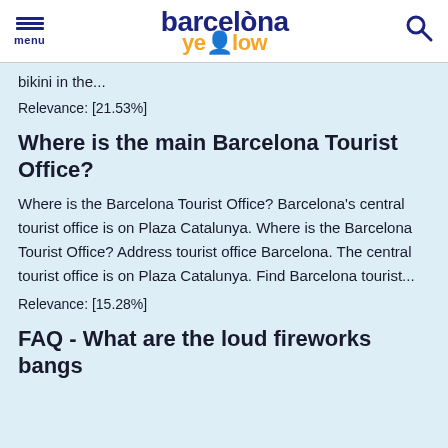menu | barcelona yellow | search
bikini in the...
Relevance: [21.53%]
Where is the main Barcelona Tourist Office?
Where is the Barcelona Tourist Office? Barcelona's central tourist office is on Plaza Catalunya. Where is the Barcelona Tourist Office? Address tourist office Barcelona. The central tourist office is on Plaza Catalunya. Find Barcelona tourist...
Relevance: [15.28%]
FAQ - What are the loud fireworks bangs